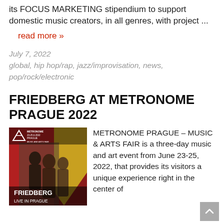its FOCUS MARKETING stipendium to support domestic music creators, in all genres, with project ...
read more »
July 7, 2022
global, hip hop/rap, jazz/improvisation, news, pop/rock/electronic
FRIEDBERG AT METRONOME PRAGUE 2022
[Figure (photo): Promotional poster for Friedberg Live in Prague at Metronome Prague 23-25.6.2022, Music and Arts Fair. Shows people with musical instruments on stage with red and yellow geometric background and text FRIEDBERG LIVE IN PRAGUE.]
METRONOME PRAGUE – MUSIC & ARTS FAIR is a three-day music and art event from June 23-25, 2022, that provides its visitors a unique experience right in the center of